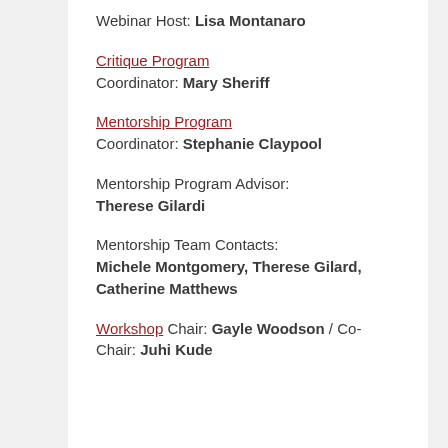Webinar Host: Lisa Montanaro
Critique Program
Coordinator: Mary Sheriff
Mentorship Program
Coordinator: Stephanie Claypool
Mentorship Program Advisor: Therese Gilardi
Mentorship Team Contacts: Michele Montgomery, Therese Gilard, Catherine Matthews
Workshop Chair: Gayle Woodson / Co-Chair: Juhi Kude